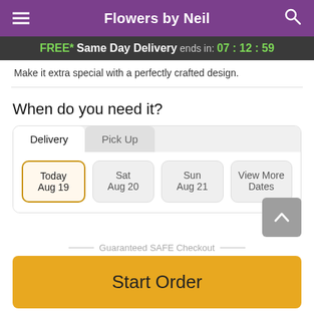Flowers by Neil
FREE* Same Day Delivery ends in: 07:12:59
Make it extra special with a perfectly crafted design.
When do you need it?
Delivery  |  Pick Up
Today Aug 19 | Sat Aug 20 | Sun Aug 21 | View More Dates
Guaranteed SAFE Checkout
Start Order